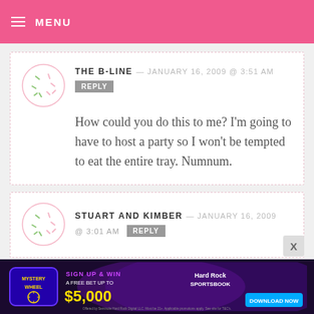MENU
THE B-LINE — JANUARY 16, 2009 @ 3:51 AM
REPLY
How could you do this to me? I'm going to have to host a party so I won't be tempted to eat the entire tray. Numnum.
STUART AND KIMBER — JANUARY 16, 2009 @ 3:01 AM
REPLY
[Figure (infographic): Hard Rock Sportsbook advertisement: Mystery Wheel, Sign Up & Win A Free Bet Up To $5,000, Download Now button]